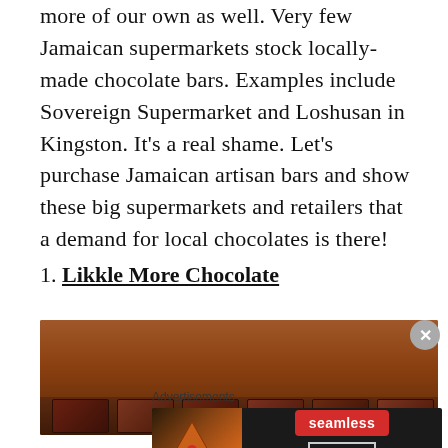more of our own as well. Very few Jamaican supermarkets stock locally-made chocolate bars. Examples include Sovereign Supermarket and Loshusan in Kingston. It’s a real shame. Let’s purchase Jamaican artisan bars and show these big supermarkets and retailers that a demand for local chocolates is there!
1. Likkle More Chocolate
[Figure (photo): Photo of multiple chocolate bars arranged on a wooden surface, viewed from above. Chocolate bars have colorful packaging with red and orange accents.]
Advertisements
[Figure (screenshot): Seamless food delivery advertisement banner showing pizza slices on the left, a red Seamless logo badge in the center, and an ORDER NOW button on the right, on a dark background.]